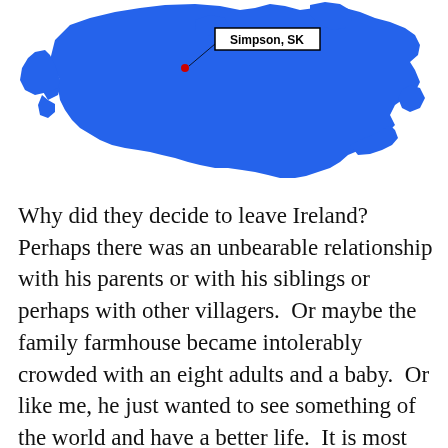[Figure (map): Map of Canada highlighted in blue with a red dot and label 'Simpson, SK' marking the location of Simpson, Saskatchewan.]
Why did they decide to leave Ireland?  Perhaps there was an unbearable relationship with his parents or with his siblings or perhaps with other villagers.  Or maybe the family farmhouse became intolerably crowded with an eight adults and a baby.  Or like me, he just wanted to see something of the world and have a better life.  It is most unlikely that we shall ever know the real reason. In those days life in Ireland was not easy.  The standard of living was poor and mainly based on the farming of small holdings, like that of my ancestors.  It was not unusual